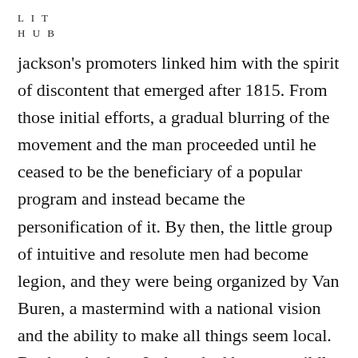L I T
H U B
jackson's promoters linked him with the spirit of discontent that emerged after 1815. From those initial efforts, a gradual blurring of the movement and the man proceeded until he ceased to be the beneficiary of a popular program and instead became the personification of it. By then, the little group of intuitive and resolute men had become legion, and they were being organized by Van Buren, a mastermind with a national vision and the ability to make all things seem local. By then, Andrew Jackson had become wildly and irresistibly popular. He was meant to be.